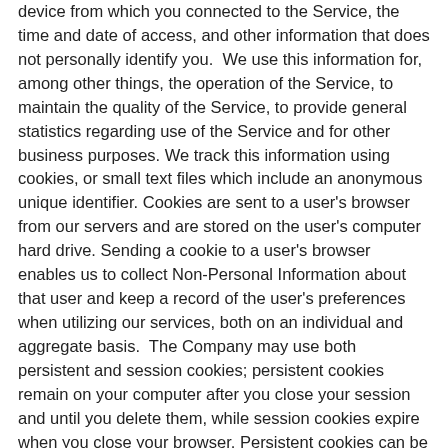device from which you connected to the Service, the time and date of access, and other information that does not personally identify you.  We use this information for, among other things, the operation of the Service, to maintain the quality of the Service, to provide general statistics regarding use of the Service and for other business purposes. We track this information using cookies, or small text files which include an anonymous unique identifier. Cookies are sent to a user's browser from our servers and are stored on the user's computer hard drive. Sending a cookie to a user's browser enables us to collect Non-Personal Information about that user and keep a record of the user's preferences when utilizing our services, both on an individual and aggregate basis.  The Company may use both persistent and session cookies; persistent cookies remain on your computer after you close your session and until you delete them, while session cookies expire when you close your browser. Persistent cookies can be removed by following your Internet browser help file directions. If you choose to disable cookies, some areas of the Service may not work properly.